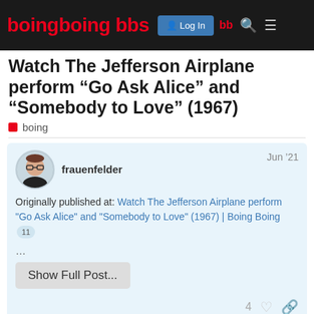BOINGBOING bbs | Log In | bb | Search | Menu
Watch The Jefferson Airplane perform “Go Ask Alice” and “Somebody to Love” (1967)
boing
frauenfelder  Jun '21
Originally published at: Watch The Jefferson Airplane perform "Go Ask Alice" and "Somebody to Love" (1967) | Boing Boing  11
...
Show Full Post...
4  [heart]  [link]
created  last reply  11
Jun '21  Jul '21  replies